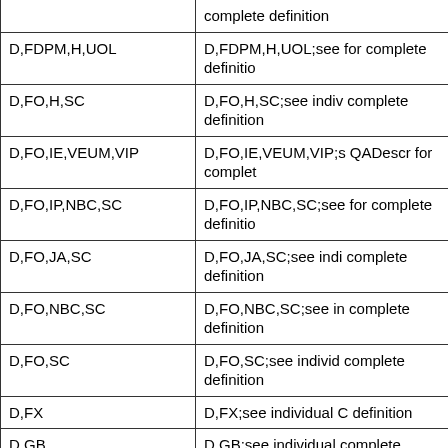| Term | Definition |
| --- | --- |
|  | complete definition |
| D,FDPM,H,UOL | D,FDPM,H,UOL;see for complete definitio |
| D,FO,H,SC | D,FO,H,SC;see indiv complete definition |
| D,FO,IE,VEUM,VIP | D,FO,IE,VEUM,VIP;s QADescr for complet |
| D,FO,IP,NBC,SC | D,FO,IP,NBC,SC;see for complete definitio |
| D,FO,JA,SC | D,FO,JA,SC;see indi complete definition |
| D,FO,NBC,SC | D,FO,NBC,SC;see in complete definition |
| D,FO,SC | D,FO,SC;see individ complete definition |
| D,FX | D,FX;see individual C definition |
| D,GB | D,GB;see individual complete definition |
| D,GB,DO,NBC,SC | D,GB,DO,NBC,SC;se QADescr for complet |
| D,GB,GN | D,GB,GN;see individ |